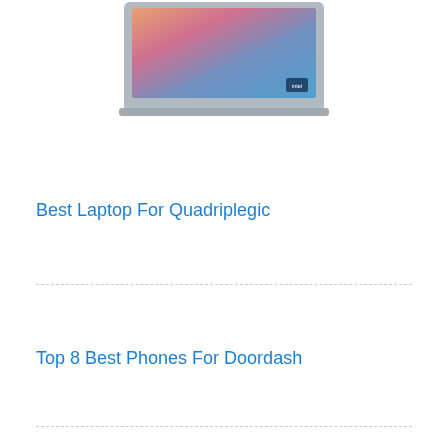[Figure (photo): Partial image of a laptop with a colorful abstract wallpaper on the screen, silver chassis, shown from the top/front angle, cropped at the top of the page.]
Best Laptop For Quadriplegic
Top 8 Best Phones For Doordash